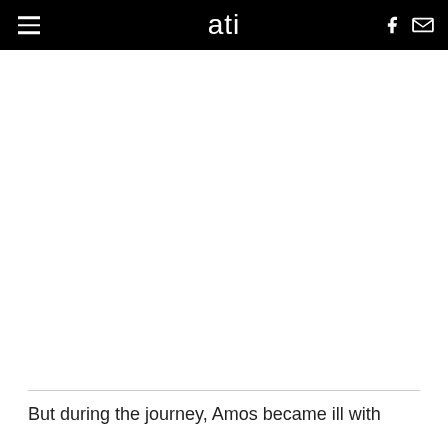ati
[Figure (other): Large white/blank image area below navigation bar]
But during the journey, Amos became ill with